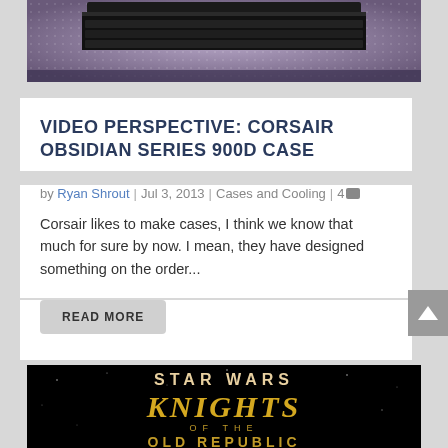[Figure (photo): Top portion of a Corsair Obsidian Series 900D computer case, showing black drive bays against a purple/dark background with dotted texture]
VIDEO PERSPECTIVE: CORSAIR OBSIDIAN SERIES 900D CASE
by Ryan Shrout | Jul 3, 2013 | Cases and Cooling | 4
Corsair likes to make cases, I think we know that much for sure by now.  I mean, they have designed something on the order...
READ MORE
[Figure (screenshot): Star Wars: Knights of the Old Republic logo on black background with stars, showing STAR WARS at top, KNIGHTS in large gold letters, OF THE in smaller text, and OLD REPUBLIC partially visible at bottom]